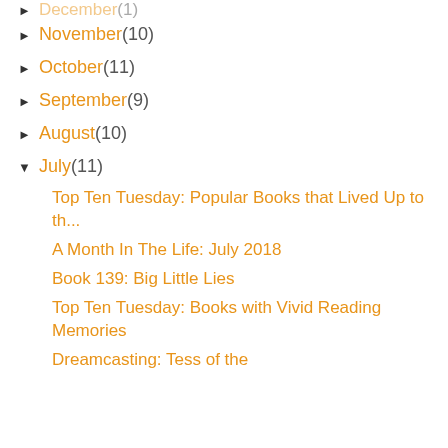November (10)
October (11)
September (9)
August (10)
July (11)
Top Ten Tuesday: Popular Books that Lived Up to th...
A Month In The Life: July 2018
Book 139: Big Little Lies
Top Ten Tuesday: Books with Vivid Reading Memories
Dreamcasting: Tess of the